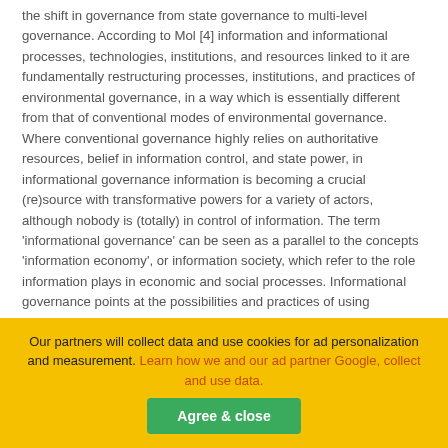the shift in governance from state governance to multi-level governance. According to Mol [4] information and informational processes, technologies, institutions, and resources linked to it are fundamentally restructuring processes, institutions, and practices of environmental governance, in a way which is essentially different from that of conventional modes of environmental governance. Where conventional governance highly relies on authoritative resources, belief in information control, and state power, in informational governance information is becoming a crucial (re)source with transformative powers for a variety of actors, although nobody is (totally) in control of information. The term 'informational governance' can be seen as a parallel to the concepts 'information economy', or information society, which refer to the role information plays in economic and social processes. Informational governance points at the possibilities and practices of using information to visualize, emphasize, articulate, communicate and coordinate natural resource interests and rationalities about natural resources [4,7]. The link between informational governance and distributive information is highly relevant to management
Our partners will collect data and use cookies for ad personalization and measurement. Learn how we and our ad partner Google, collect and use data.
Agree & close